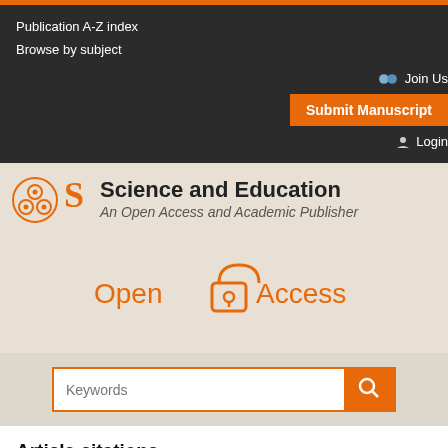Publication A-Z index
Browse by subject
Join Us
Submit Manuscript
Login
Science and Education
An Open Access and Academic Publisher
[Figure (logo): Open Access lock logo in orange]
Open Access
Article citations
Poley, M.J., "Nutrition and health technology assessment: when two worlds m... Oct. 2015.